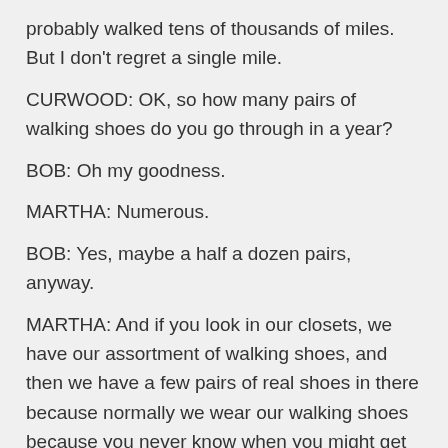probably walked tens of thousands of miles. But I don't regret a single mile.
CURWOOD: OK, so how many pairs of walking shoes do you go through in a year?
BOB: Oh my goodness.
MARTHA: Numerous.
BOB: Yes, maybe a half a dozen pairs, anyway.
MARTHA: And if you look in our closets, we have our assortment of walking shoes, and then we have a few pairs of real shoes in there because normally we wear our walking shoes because you never know when you might get an opportunity to go for a little walk.
CURWOOD: Bob and Martha Manning are authors of the new book, "Walks of a Lifetime". Thanks so much for